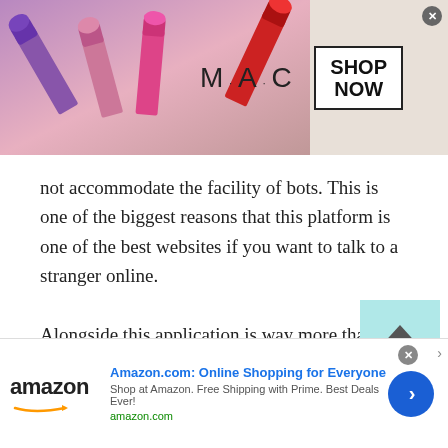[Figure (illustration): MAC Cosmetics advertisement banner showing colorful lipsticks on the left side with MAC logo text and a 'SHOP NOW' button in a black border box on the right side. A close button (X) is in the top right corner.]
not accommodate the facility of bots. This is one of the biggest reasons that this platform is one of the best websites if you want to talk to a stranger online.
Alongside this application is way more than just a regular Nigerian chatting site. Those chatting sites are mostly scam and have bots that are talking with another gender. Their main purpose is to take advantage of the other people's needs and wants.
[Figure (illustration): Amazon advertisement banner showing Amazon logo on the left, text 'Amazon.com: Online Shopping for Everyone' in blue, subtitle 'Shop at Amazon. Free Shipping with Prime. Best Deals Ever!' and 'amazon.com' URL in green, with a blue circular arrow button on the right. A close button (X) is visible.]